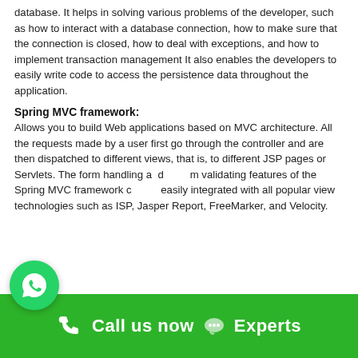database. It helps in solving various problems of the developer, such as how to interact with a database connection, how to make sure that the connection is closed, how to deal with exceptions, and how to implement transaction management It also enables the developers to easily write code to access the persistence data throughout the application.
Spring MVC framework:
Allows you to build Web applications based on MVC architecture. All the requests made by a user first go through the controller and are then dispatched to different views, that is, to different JSP pages or Servlets. The form handling and validating features of the Spring MVC framework can be easily integrated with all popular view technologies such as ISP, Jasper Report, FreeMarker, and Velocity.
Call us now  Experts